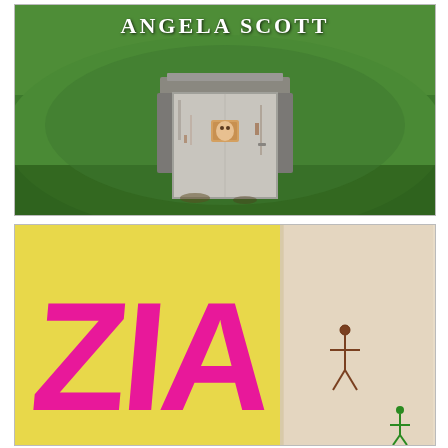[Figure (illustration): Book cover with author name ANGELA SCOTT at top in white serif font. Background shows a grass-covered hillside with a weathered metal bunker door set into it. A child's face peers through a small window in the door.]
[Figure (illustration): Book cover showing large bold pink graffiti-style letters ZIA on a yellow background. On the right side is a close-up of a pale arm/skin with a small brown figure drawn on it. Small green figure visible at bottom right.]